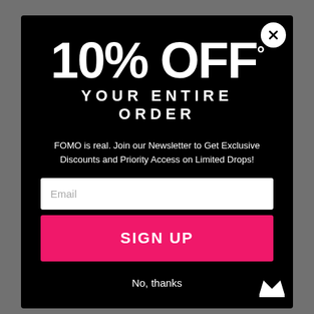[Figure (screenshot): E-commerce website popup modal with 10% OFF discount offer on black background, with email signup and close button]
10% OFF
YOUR ENTIRE ORDER
FOMO is real. Join our Newsletter to Get Exclusive Discounts and Priority Access on Limited Drops!
Email
SIGN UP
No, thanks
The Zen - Coasters